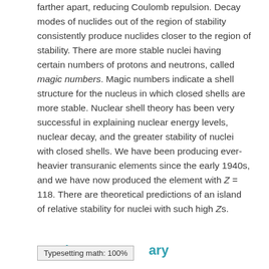farther apart, reducing Coulomb repulsion. Decay modes of nuclides out of the region of stability consistently produce nuclides closer to the region of stability. There are more stable nuclei having certain numbers of protons and neutrons, called magic numbers. Magic numbers indicate a shell structure for the nucleus in which closed shells are more stable. Nuclear shell theory has been very successful in explaining nuclear energy levels, nuclear decay, and the greater stability of nuclei with closed shells. We have been producing ever-heavier transuranic elements since the early 1940s, and we have now produced the element with Z = 118. There are theoretical predictions of an island of relative stability for nuclei with such high Zs.
Section Summary